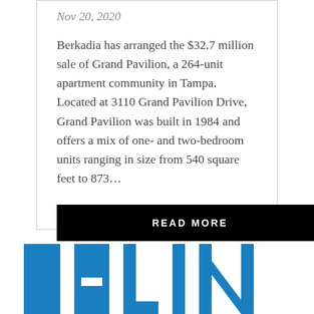Nov 20, 2020
Berkadia has arranged the $32.7 million sale of Grand Pavilion, a 264-unit apartment community in Tampa. Located at 3110 Grand Pavilion Drive, Grand Pavilion was built in 1984 and offers a mix of one- and two-bedroom units ranging in size from 540 square feet to 873…
READ MORE
[Figure (logo): Partial blue logo letters visible at bottom of page]